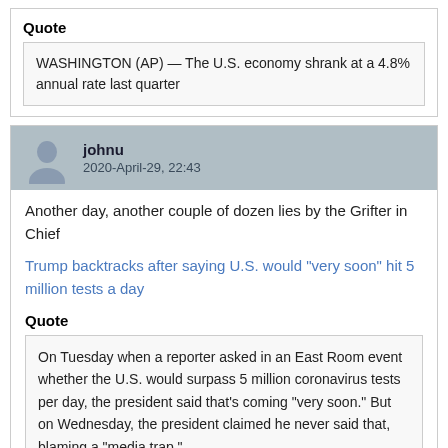Quote
WASHINGTON (AP) — The U.S. economy shrank at a 4.8% annual rate last quarter
johnu
2020-April-29, 22:43
Another day, another couple of dozen lies by the Grifter in Chief
Trump backtracks after saying U.S. would "very soon" hit 5 million tests a day
Quote
On Tuesday when a reporter asked in an East Room event whether the U.S. would surpass 5 million coronavirus tests per day, the president said that's coming "very soon." But on Wednesday, the president claimed he never said that, blaming a "media trap."
By soon, the Liar in Chief really meant by 2030 or 2040. And by 5 million he really meant...